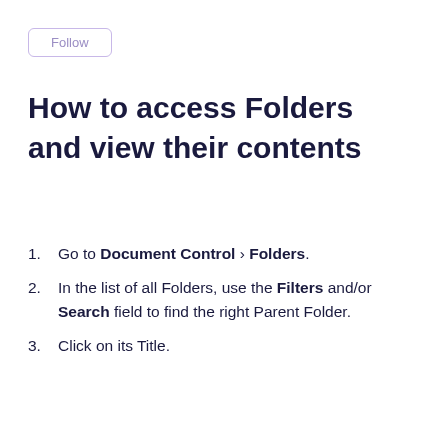[Figure (other): Follow button — outlined rectangular button with light purple border and 'Follow' text]
How to access Folders and view their contents
Go to Document Control > Folders.
In the list of all Folders, use the Filters and/or Search field to find the right Parent Folder.
Click on its Title.